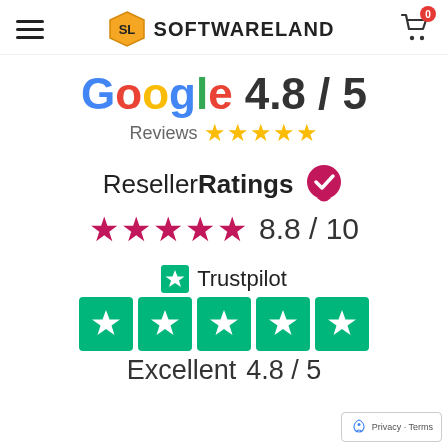[Figure (logo): Softwareland website header with hamburger menu, SL logo, and shopping cart icon showing 0 items]
[Figure (infographic): Google Reviews rating: 4.8/5 with 5 gold stars]
[Figure (infographic): ResellerRatings rating: 8.8/10 with 5 pink stars and verified checkmark badge]
[Figure (infographic): Trustpilot rating: Excellent 4.8/5 with 5 green star boxes]